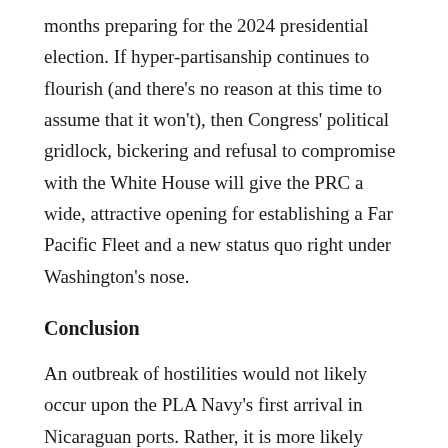months preparing for the 2024 presidential election. If hyper-partisanship continues to flourish (and there's no reason at this time to assume that it won't), then Congress' political gridlock, bickering and refusal to compromise with the White House will give the PRC a wide, attractive opening for establishing a Far Pacific Fleet and a new status quo right under Washington's nose.
Conclusion
An outbreak of hostilities would not likely occur upon the PLA Navy's first arrival in Nicaraguan ports. Rather, it is more likely Beijing would try to establish a new normal, regularizing port calls and routine drills up and down the Pacific and Atlantic coasts of Latin America before every attempting to directly confront the United States Navy. It is difficult and perhaps a